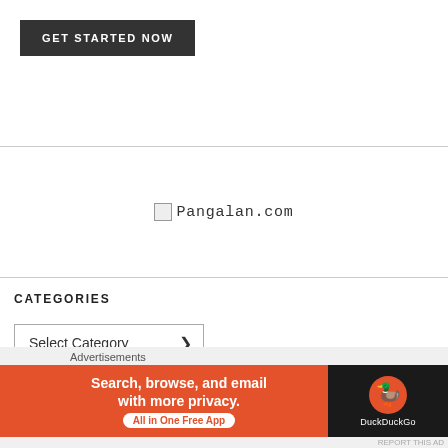[Figure (screenshot): Dark button with white uppercase text 'GET STARTED NOW']
[Figure (logo): Broken image icon followed by text 'Pangalan.com' in monospace font]
CATEGORIES
[Figure (screenshot): Dropdown select box labeled 'Select Category' with arrow]
Advertisements
[Figure (screenshot): DuckDuckGo advertisement banner: 'Search, browse, and email with more privacy. All in One Free App' with DuckDuckGo logo on dark background]